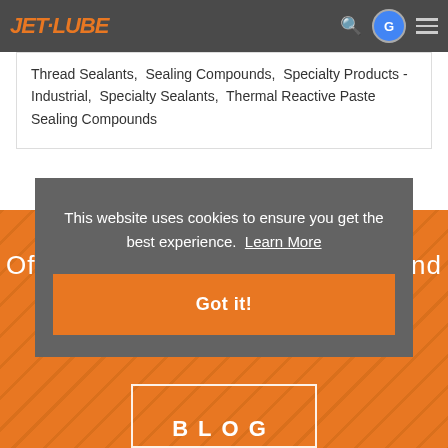Jet-Lube [logo header with search, translate, and menu icons]
Thread Sealants,  Sealing Compounds,  Specialty Products - Industrial,  Specialty Sealants,  Thermal Reactive Paste Sealing Compounds
[Figure (screenshot): Orange section background showing partial white text 'Off' on left and 'nd' on right, with a BLOG label in white letters inside a white border box at the bottom]
This website uses cookies to ensure you get the best experience.  Learn More
Got it!